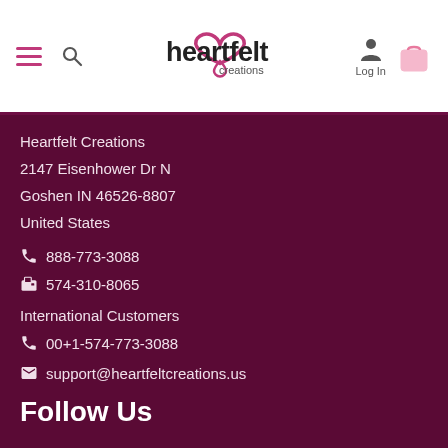Heartfelt Creations — navigation header with logo, menu, search, login, and bag
Heartfelt Creations
2147 Eisenhower Dr N
Goshen IN 46526-8807
United States
888-773-3088
574-310-8065
International Customers
00+1-574-773-3088
support@heartfeltcreations.us
Follow Us